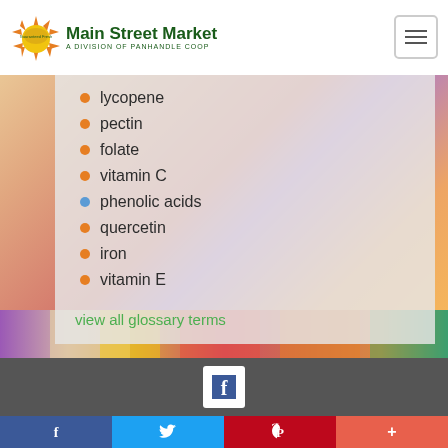Main Street Market — A Division of Panhandle Coop
lycopene
pectin
folate
vitamin C
phenolic acids
quercetin
iron
vitamin E
view all glossary terms
[Figure (photo): Colorful grilled vegetable skewers food photo strip]
Facebook social media footer with share buttons (Facebook, Twitter, Pinterest, +)